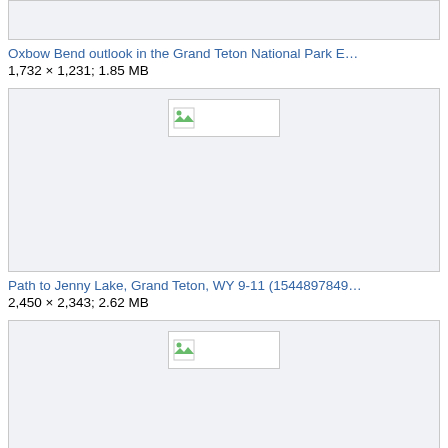[Figure (photo): Broken image placeholder for Oxbow Bend outlook in the Grand Teton National Park]
Oxbow Bend outlook in the Grand Teton National Park E…
1,732 × 1,231; 1.85 MB
[Figure (photo): Broken image placeholder for Path to Jenny Lake, Grand Teton, WY 9-11]
Path to Jenny Lake, Grand Teton, WY 9-11 (1544897849…
2,450 × 2,343; 2.62 MB
[Figure (photo): Broken image placeholder for third image]